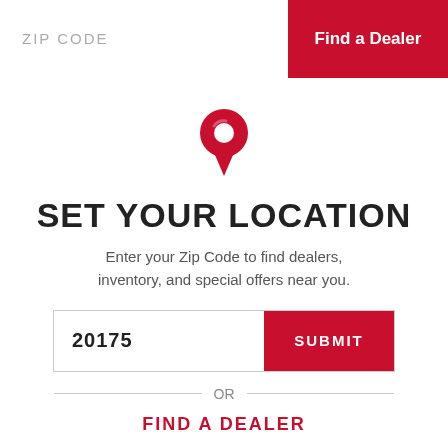ZIP CODE
Find a Dealer
[Figure (illustration): Red location pin / map marker icon]
SET YOUR LOCATION
Enter your Zip Code to find dealers, inventory, and special offers near you.
20175
SUBMIT
OR
FIND A DEALER